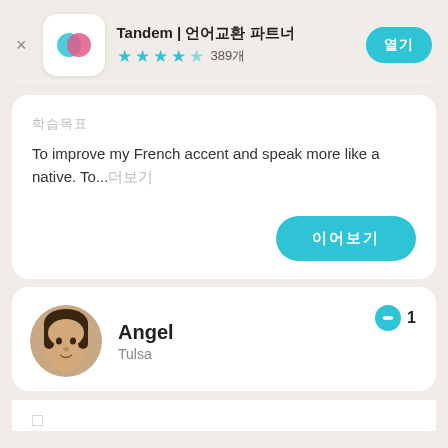[Figure (screenshot): Tandem app header with logo icon, star rating 4.5 stars, 389 reviews, and install button]
To improve my French accent and speak more like a native. To...
Angel
Tulsa